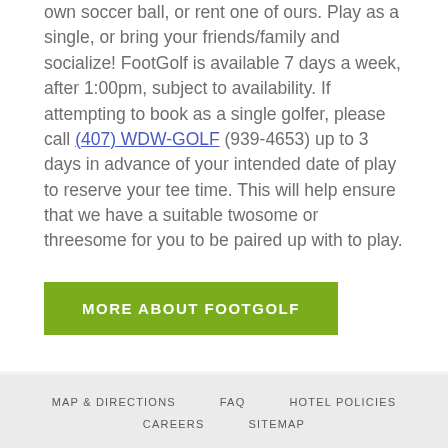own soccer ball, or rent one of ours. Play as a single, or bring your friends/family and socialize! FootGolf is available 7 days a week, after 1:00pm, subject to availability. If attempting to book as a single golfer, please call (407) WDW-GOLF (939-4653) up to 3 days in advance of your intended date of play to reserve your tee time. This will help ensure that we have a suitable twosome or threesome for you to be paired up with to play.
MORE ABOUT FOOTGOLF
MAP & DIRECTIONS   FAQ   HOTEL POLICIES   CAREERS   SITEMAP